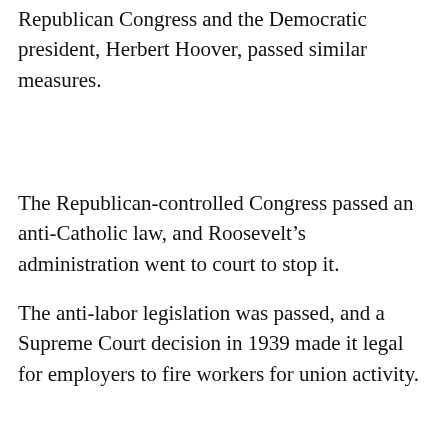Republican Congress and the Democratic president, Herbert Hoover, passed similar measures.
The Republican-controlled Congress passed an anti-Catholic law, and Roosevelt’s administration went to court to stop it.
The anti-labor legislation was passed, and a Supreme Court decision in 1939 made it legal for employers to fire workers for union activity.
But, when the Supreme Court struck down the anti-union law, the Republican-dominated Congress repealed it.